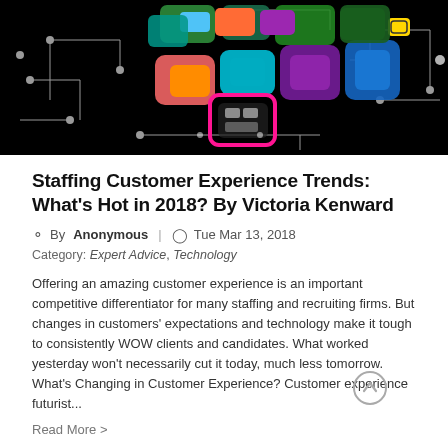[Figure (illustration): Colorful abstract digital circuit board illustration with multicolored rounded rectangle shapes and white circuit lines on a black background]
Staffing Customer Experience Trends: What's Hot in 2018? By Victoria Kenward
By Anonymous | Tue Mar 13, 2018
Category: Expert Advice, Technology
Offering an amazing customer experience is an important competitive differentiator for many staffing and recruiting firms. But changes in customers' expectations and technology make it tough to consistently WOW clients and candidates. What worked yesterday won't necessarily cut it today, much less tomorrow. What's Changing in Customer Experience? Customer experience futurist...
Read More >